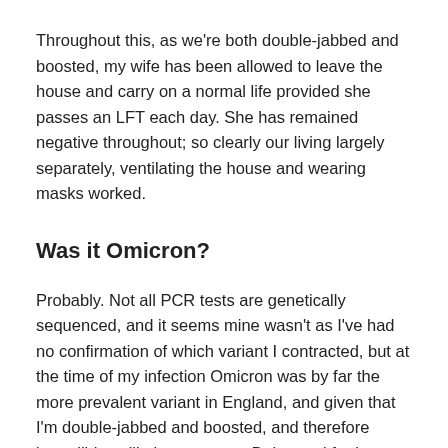Throughout this, as we're both double-jabbed and boosted, my wife has been allowed to leave the house and carry on a normal life provided she passes an LFT each day. She has remained negative throughout; so clearly our living largely separately, ventilating the house and wearing masks worked.
Was it Omicron?
Probably. Not all PCR tests are genetically sequenced, and it seems mine wasn't as I've had no confirmation of which variant I contracted, but at the time of my infection Omicron was by far the more prevalent variant in England, and given that I'm double-jabbed and boosted, and therefore incredibly unlikely to contract Delta, and further